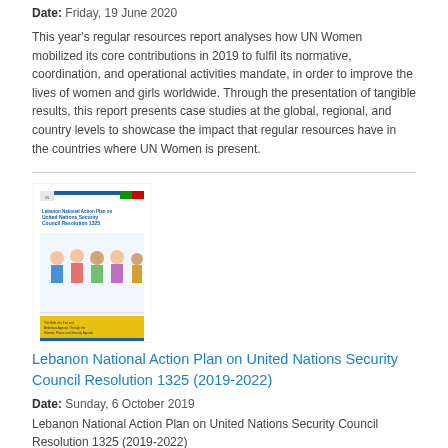Date: Friday, 19 June 2020
This year's regular resources report analyses how UN Women mobilized its core contributions in 2019 to fulfil its normative, coordination, and operational activities mandate, in order to improve the lives of women and girls worldwide. Through the presentation of tangible results, this report presents case studies at the global, regional, and country levels to showcase the impact that regular resources have in the countries where UN Women is present.
[Figure (photo): Cover image of the Lebanon National Action Plan on United Nations Security Council Resolution 1325 (2019-2022) document]
Lebanon National Action Plan on United Nations Security Council Resolution 1325 (2019-2022)
Date: Sunday, 6 October 2019
Lebanon National Action Plan on United Nations Security Council Resolution 1325 (2019-2022)